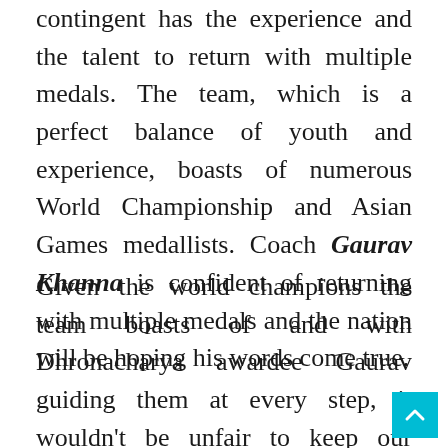contingent has the experience and the talent to return with multiple medals. The team, which is a perfect balance of youth and experience, boasts of numerous World Championship and Asian Games medallists. Coach Gaurav Khanna is confident of returning with multiple medals and the nation will be hoping his words come true.
Given the world champions the team boasts of and with Dhronacharya awardee Gaurav guiding them at every step, it wouldn't be unfair to keep our expectations high from this contingent of para shuttlers heading to Tok...